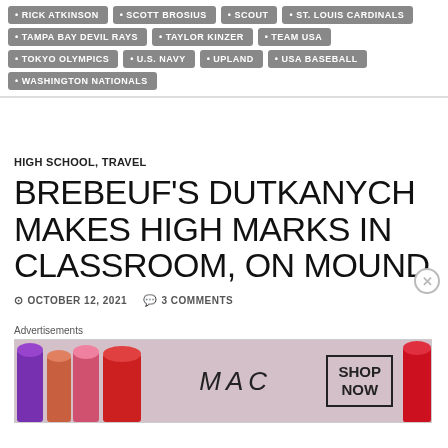RICK ATKINSON
SCOTT BROSIUS
SCOUT
ST. LOUIS CARDINALS
TAMPA BAY DEVIL RAYS
TAYLOR KINZER
TEAM USA
TOKYO OLYMPICS
U.S. NAVY
UPLAND
USA BASEBALL
WASHINGTON NATIONALS
HIGH SCHOOL, TRAVEL
BREBEUF'S DUTKANYCH MAKES HIGH MARKS IN CLASSROOM, ON MOUND
OCTOBER 12, 2021   3 COMMENTS
[Figure (photo): MAC cosmetics advertisement showing lipsticks and SHOP NOW button]